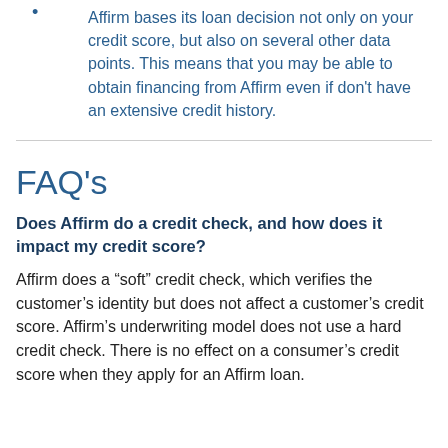Affirm bases its loan decision not only on your credit score, but also on several other data points. This means that you may be able to obtain financing from Affirm even if don't have an extensive credit history.
FAQ's
Does Affirm do a credit check, and how does it impact my credit score?
Affirm does a “soft” credit check, which verifies the customer’s identity but does not affect a customer’s credit score. Affirm’s underwriting model does not use a hard credit check. There is no effect on a consumer’s credit score when they apply for an Affirm loan.